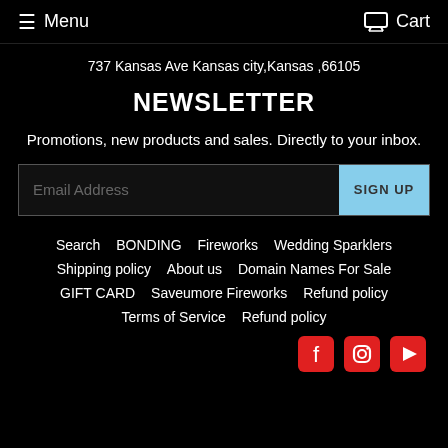Menu   Cart
737 Kansas Ave Kansas city,Kansas ,66105
NEWSLETTER
Promotions, new products and sales. Directly to your inbox.
Email Address   SIGN UP
Search   BONDING   Fireworks   Wedding Sparklers
Shipping policy   About us   Domain Names For Sale
GIFT CARD   Saveumore Fireworks   Refund policy
Terms of Service   Refund policy
[Figure (illustration): Social media icons: Facebook, Instagram, YouTube (red rounded squares)]